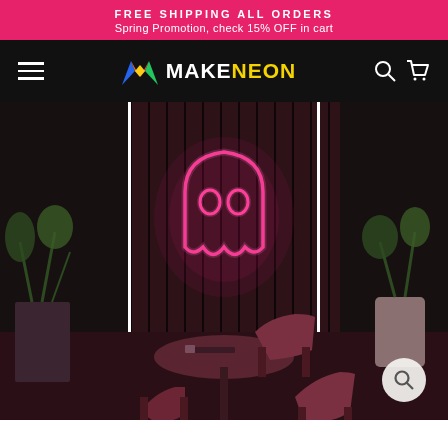FREE SHIPPING ALL ORDERS
Spring Promotion, check 15% OFF in cart
[Figure (logo): MakeNeon brand logo with colorful mountain/M icon and white MAKE + yellow NEON text on black navigation bar]
[Figure (photo): Hero image of a restaurant/cafe interior with dark wood slat walls. A bright pink neon ghost sign glows on the wall. Dark red/mauve chairs surround a round table. Plants visible on sides. A magnifying glass search icon overlay in bottom right.]